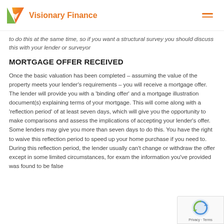Visionary Finance
to do this at the same time, so if you want a structural survey you should discuss this with your lender or surveyor
MORTGAGE OFFER RECEIVED
Once the basic valuation has been completed – assuming the value of the property meets your lender's requirements – you will receive a mortgage offer. The lender will provide you with a 'binding offer' and a mortgage illustration document(s) explaining terms of your mortgage. This will come along with a 'reflection period' of at least seven days, which will give you the opportunity to make comparisons and assess the implications of accepting your lender's offer. Some lenders may give you more than seven days to do this. You have the right to waive this reflection period to speed up your home purchase if you need to. During this reflection period, the lender usually can't change or withdraw the offer except in some limited circumstances, for example if the information you've provided was found to be false.
[Figure (logo): reCAPTCHA badge with Privacy and Terms links]